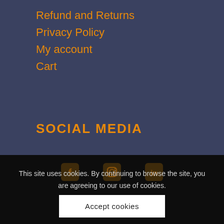Refund and Returns
Privacy Policy
My account
Cart
SOCIAL MEDIA
This site uses cookies. By continuing to browse the site, you are agreeing to our use of cookies.
Accept cookies